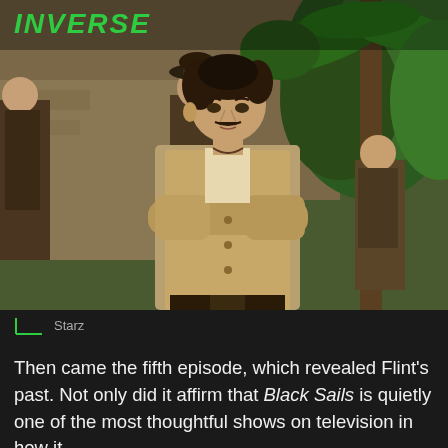INVERSE
[Figure (photo): Scene from the TV show Black Sails on Starz. A man dressed in pirate/colonial-era clothing with arms crossed stands in the foreground looking at the camera. Background shows other similarly-dressed figures in a rustic outdoor setting with tropical vegetation and stone buildings.]
Starz
Then came the fifth episode, which revealed Flint's past. Not only did it affirm that Black Sails is quietly one of the most thoughtful shows on television in how it